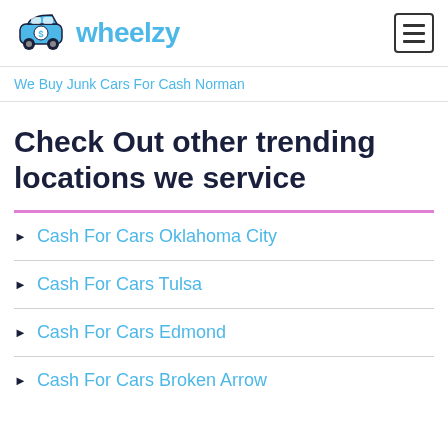wheelzy
We Buy Junk Cars For Cash Norman
Check Out other trending locations we service
Cash For Cars Oklahoma City
Cash For Cars Tulsa
Cash For Cars Edmond
Cash For Cars Broken Arrow